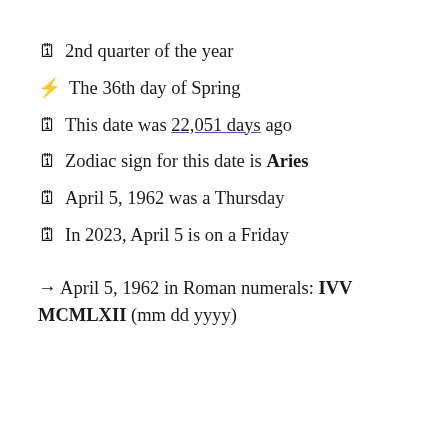🗓 2nd quarter of the year
⚡ The 36th day of Spring
🗓 This date was 22,051 days ago
🗓 Zodiac sign for this date is Aries
🗓 April 5, 1962 was a Thursday
🗓 In 2023, April 5 is on a Friday
→ April 5, 1962 in Roman numerals: IVV MCMLXII (mm dd yyyy)